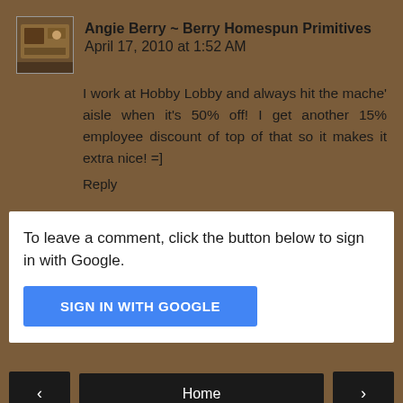Angie Berry ~ Berry Homespun Primitives April 17, 2010 at 1:52 AM
I work at Hobby Lobby and always hit the mache' aisle when it's 50% off! I get another 15% employee discount of top of that so it makes it extra nice! =]
Reply
To leave a comment, click the button below to sign in with Google.
SIGN IN WITH GOOGLE
Home
View web version
Powered by Blogger.